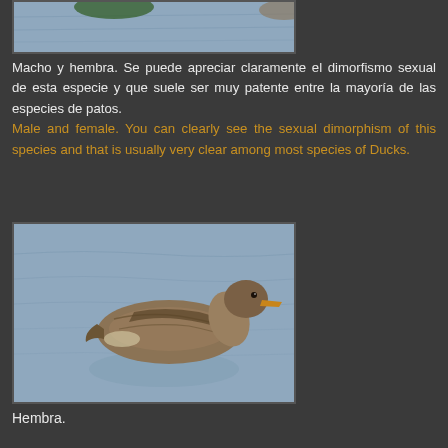[Figure (photo): Partial view of ducks (male and female) swimming on water — top portion of image cropped]
Macho y hembra. Se puede apreciar claramente el dimorfismo sexual de esta especie y que suele ser muy patente entre la mayoría de las especies de patos. Male and female. You can clearly see the sexual dimorphism of this species and that is usually very clear among most species of Ducks.
[Figure (photo): Female duck (hembra) swimming on blue-grey rippled water, brown mottled plumage, side profile]
Hembra.